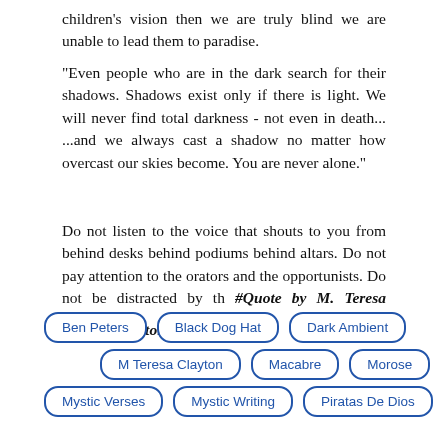children's vision then we are truly blind we are unable to lead them to paradise.
"Even people who are in the dark search for their shadows. Shadows exist only if there is light. We will never find total darkness - not even in death... ...and we always cast a shadow no matter how overcast our skies become. You are never alone."
Do not listen to the voice that shouts to you from behind desks behind podiums behind altars. Do not pay attention to the orators and the opportunists. Do not be distracted by th #Quote by M. Teresa Clayton "
Ben Peters
Black Dog Hat
Dark Ambient
M Teresa Clayton
Macabre
Morose
Mystic Verses
Mystic Writing
Piratas De Dios